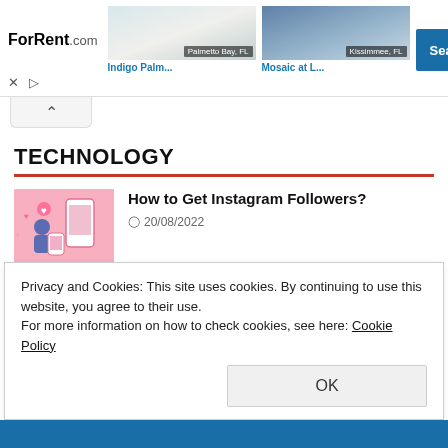[Figure (screenshot): ForRent.com advertisement banner showing two apartment listings: Indigo Palm in Palmetto Bay FL and Mosaic at L in Kissimmee FL, with a Search Now button]
Indigo Palm...   Palmetto Bay, FL   Mosaic at L...   Kissimmee, FL   Search Now
TECHNOLOGY
How to Get Instagram Followers?
20/08/2022
Privacy and Cookies: This site uses cookies. By continuing to use this website, you agree to their use.
For more information on how to check cookies, see here: Cookie Policy
OK